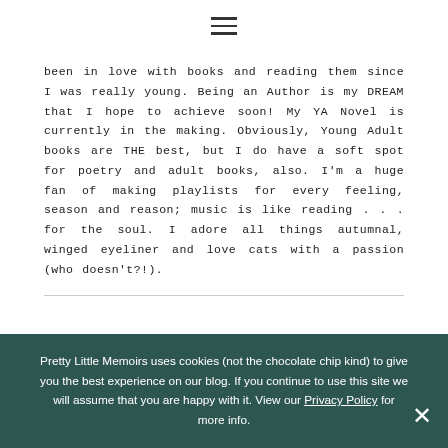☰
been in love with books and reading them since I was really young. Being an Author is my DREAM that I hope to achieve soon! My YA Novel is currently in the making. Obviously, Young Adult books are THE best, but I do have a soft spot for poetry and adult books, also. I'm a huge fan of making playlists for every feeling, season and reason; music is like reading . . . for the soul. I adore all things autumnal, winged eyeliner and love cats with a passion (who doesn't?!).
Pretty Little Memoirs uses cookies (not the chocolate chip kind) to give you the best experience on our blog. If you continue to use this site we will assume that you are happy with it. View our Privacy Policy for more info.